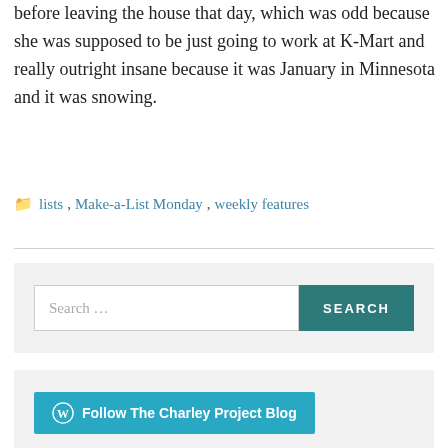before leaving the house that day, which was odd because she was supposed to be just going to work at K-Mart and really outright insane because it was January in Minnesota and it was snowing.
lists, Make-a-List Monday, weekly features
[Figure (screenshot): Search bar with teal SEARCH button]
[Figure (screenshot): Follow The Charley Project Blog button in cyan]